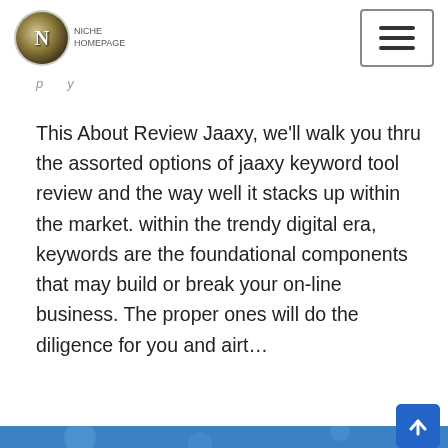N [logo / navigation header]
This About Review Jaaxy, we'll walk you thru the assorted options of jaaxy keyword tool review and the way well it stacks up within the market. within the trendy digital era, keywords are the foundational components that may build or break your on-line business. The proper ones will do the diligence for you and airt…
READ MORE »
[Figure (illustration): Blue banner section with an illustration of a person holding a magnifying glass with a paper plane icon, suggesting email or message sending concept.]